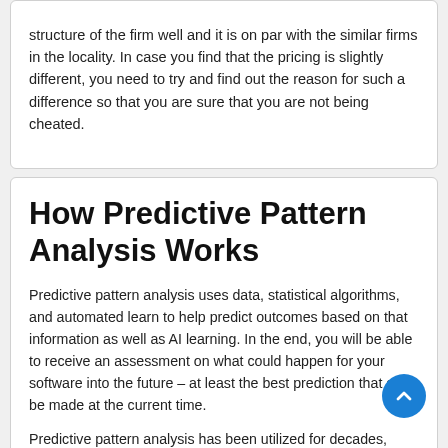structure of the firm well and it is on par with the similar firms in the locality. In case you find that the pricing is slightly different, you need to try and find out the reason for such a difference so that you are sure that you are not being cheated.
How Predictive Pattern Analysis Works
Predictive pattern analysis uses data, statistical algorithms, and automated learn to help predict outcomes based on that information as well as AI learning. In the end, you will be able to receive an assessment on what could happen for your software into the future – at least the best prediction that can be made at the current time.
Predictive pattern analysis has been utilized for decades, though with agile analytics development becoming more and more popular, it continues to